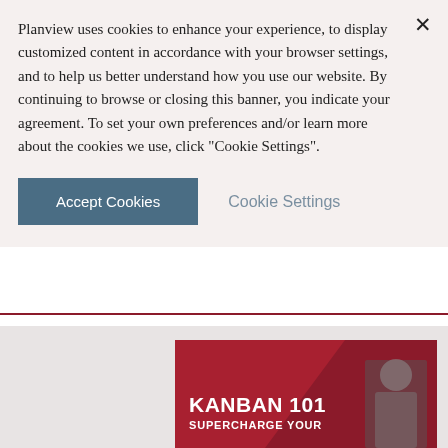Planview uses cookies to enhance your experience, to display customized content in accordance with your browser settings, and to help us better understand how you use our website. By continuing to browse or closing this banner, you indicate your agreement. To set your own preferences and/or learn more about the cookies we use, click "Cookie Settings".
Accept Cookies
Cookie Settings
[Figure (illustration): Kanban 101 - Supercharge Your [text cut off] promotional banner with red background, diagonal design element, and a person visible on the right side of the card]